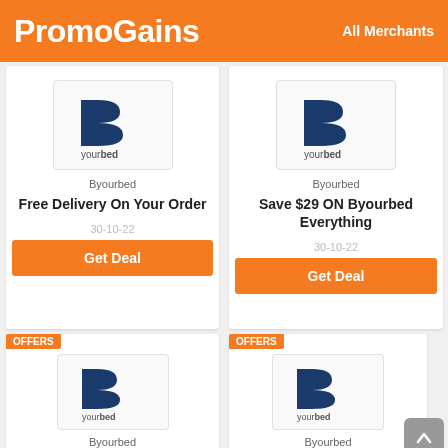PromoGains   All Merchants
[Figure (logo): Byourbed logo - IB with yourbed text]
Byourbed
Free Delivery On Your Order
30-10-22
Get Deal
[Figure (logo): Byourbed logo - IB with yourbed text]
Byourbed
Save $29 ON Byourbed Everything
30-10-22
Get Deal
OFFERS
[Figure (logo): Byourbed logo - IB with yourbed text]
Byourbed
OFFERS
[Figure (logo): Byourbed logo - IB with yourbed text]
Byourbed